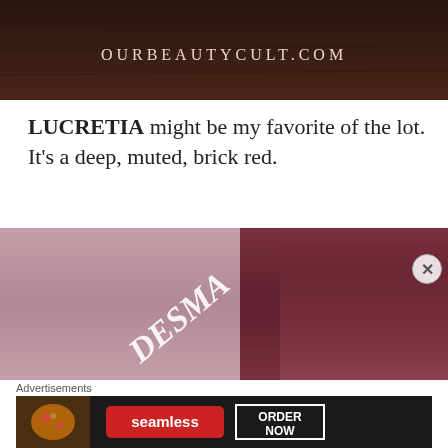[Figure (photo): Top portion of an image with a dark brownish-red background and 'OURBEAUTYCULT.COM' text in a handwritten/chalk-style font centered on it]
LUCRETIA might be my favorite of the lot. It's a deep, muted, brick red.
[Figure (photo): A lipstick swatch photo showing two swatches side by side on skin: a mauve/dusty rose on the left and a deep burgundy/brick red on the right. The word 'DESMA' is handwritten in white across the left swatch.]
Advertisements
[Figure (screenshot): Seamless food delivery advertisement banner showing pizza image on left, red 'seamless' logo in center, and 'ORDER NOW' button in white border box on the right, all on a dark background]